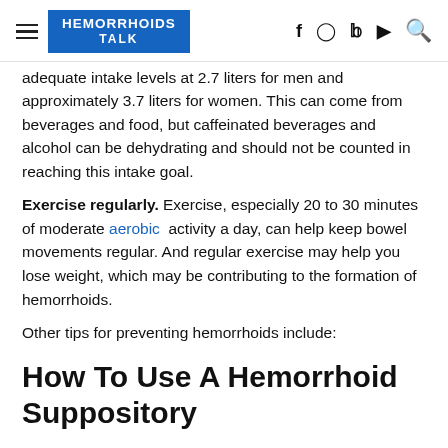HEMORRHOIDS TALK
adequate intake levels at 2.7 liters for men and approximately 3.7 liters for women. This can come from beverages and food, but caffeinated beverages and alcohol can be dehydrating and should not be counted in reaching this intake goal.
Exercise regularly. Exercise, especially 20 to 30 minutes of moderate aerobic activity a day, can help keep bowel movements regular. And regular exercise may help you lose weight, which may be contributing to the formation of hemorrhoids.
Other tips for preventing hemorrhoids include:
How To Use A Hemorrhoid Suppository